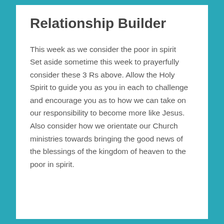Relationship Builder
This week as we consider the poor in spirit
Set aside sometime this week to prayerfully consider these 3 Rs above. Allow the Holy Spirit to guide you as you in each to challenge and encourage you as to how we can take on our responsibility to become more like Jesus.
Also consider how we orientate our Church ministries towards bringing the good news of the blessings of the kingdom of heaven to the poor in spirit.